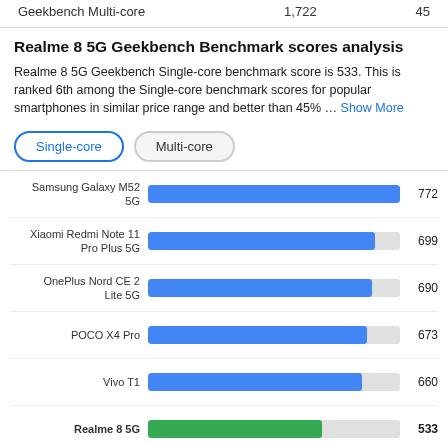|  |  |  |
| --- | --- | --- |
| Geekbench Multi-core | 1,722 | 45 |
Realme 8 5G Geekbench Benchmark scores analysis
Realme 8 5G Geekbench Single-core benchmark score is 533. This is ranked 6th among the Single-core benchmark scores for popular smartphones in similar price range and better than 45% ... Show More
[Figure (bar-chart): Geekbench Single-core scores comparison]